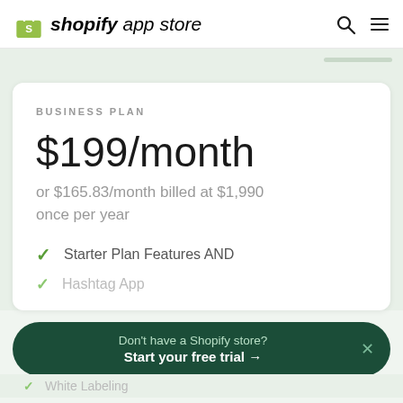shopify app store
BUSINESS PLAN
$199/month
or $165.83/month billed at $1,990 once per year
Starter Plan Features AND
Hashtag App
Don't have a Shopify store? Start your free trial →
White Labeling